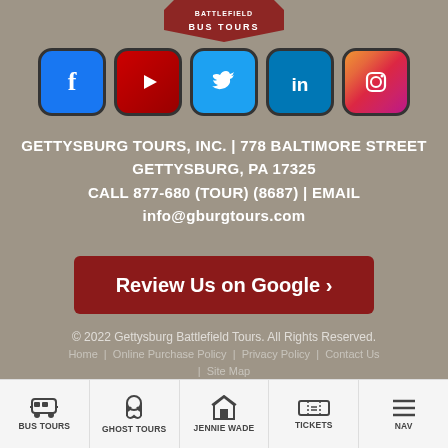[Figure (logo): Battlefield Bus Tours logo shield at top]
[Figure (illustration): Social media icons row: Facebook, YouTube, Twitter, LinkedIn, Instagram]
GETTYSBURG TOURS, INC.  |  778 BALTIMORE STREET GETTYSBURG, PA 17325 CALL 877-680 (TOUR) (8687)  |  EMAIL info@gburgtours.com
[Figure (other): Review Us on Google button]
© 2022 Gettysburg Battlefield Tours. All Rights Reserved. Home | Online Purchase Policy | Privacy Policy | Contact Us | Site Map
[Figure (other): Bottom navigation bar with icons: BUS TOURS, GHOST TOURS, JENNIE WADE, TICKETS, NAV]